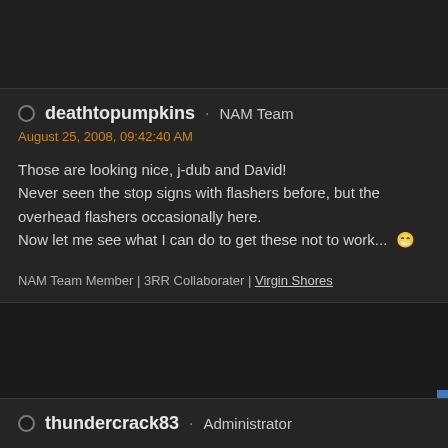deathtopumpkins · NAM Team
August 25, 2008, 09:42:40 AM
Those are looking nice, j-dub and David!
Never seen the stop signs with flashers before, but the overhead flashers occasionally here.
Now let me see what I can do to get these not to work... 😀
NAM Team Member | 3RR Collaborater | Virgin Shores
thundercrack83 · Administrator
August 25, 2008, 11:58:56 AM
Wow! Things just keep raising the bar and raising the bar around here, D
So many folks working hard to so many fantastic projects, I don't even kn begin, but I will say--Thank you and keep it up!